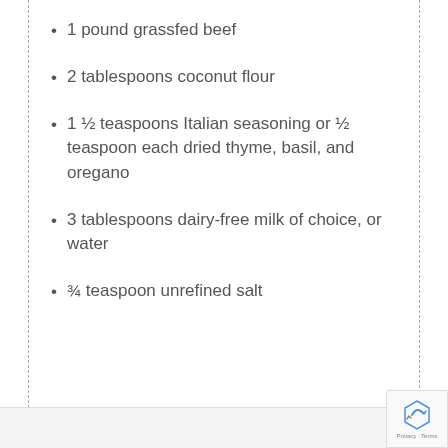1 pound grassfed beef
2 tablespoons coconut flour
1 ½ teaspoons Italian seasoning or ½ teaspoon each dried thyme, basil, and oregano
3 tablespoons dairy-free milk of choice, or water
¾ teaspoon unrefined salt